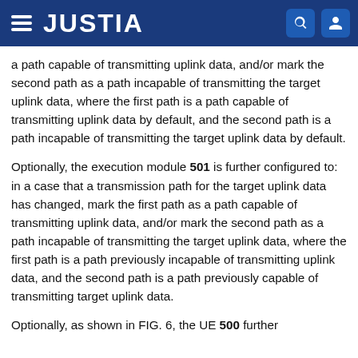JUSTIA
a path capable of transmitting uplink data, and/or mark the second path as a path incapable of transmitting the target uplink data, where the first path is a path capable of transmitting uplink data by default, and the second path is a path incapable of transmitting the target uplink data by default.
Optionally, the execution module 501 is further configured to: in a case that a transmission path for the target uplink data has changed, mark the first path as a path capable of transmitting uplink data, and/or mark the second path as a path incapable of transmitting the target uplink data, where the first path is a path previously incapable of transmitting uplink data, and the second path is a path previously capable of transmitting target uplink data.
Optionally, as shown in FIG. 6, the UE 500 further